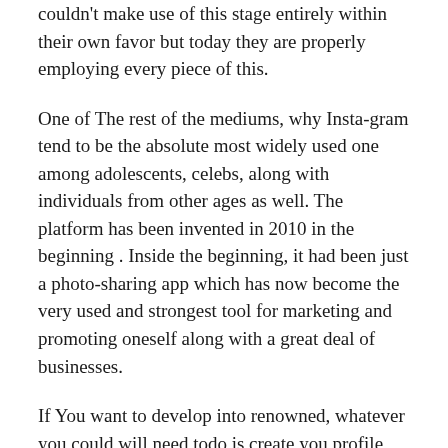couldn't make use of this stage entirely within their own favor but today they are properly employing every piece of this.
One of The rest of the mediums, why Insta-gram tend to be the absolute most widely used one among adolescents, celebs, along with individuals from other ages as well. The platform has been invented in 2010 in the beginning . Inside the beginning, it had been just a photo-sharing app which has now become the very used and strongest tool for marketing and promoting oneself along with a great deal of businesses.
If You want to develop into renowned, whatever you could will need todo is create you profile Instagram and get started attaining followers. It'll not be as easy as it seems. You're going to need a lot of patience and ways of lure buffs on your page.
But, To decrease your nuisance, today many credible websites are all helping Insta-gram